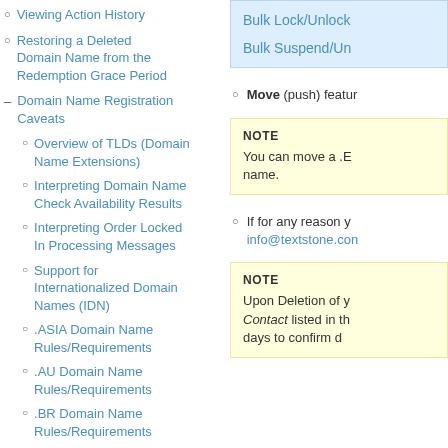Viewing Action History
Restoring a Deleted Domain Name from the Redemption Grace Period
Domain Name Registration Caveats
Overview of TLDs (Domain Name Extensions)
Interpreting Domain Name Check Availability Results
Interpreting Order Locked In Processing Messages
Support for Internationalized Domain Names (IDN)
.ASIA Domain Name Rules/Requirements
.AU Domain Name Rules/Requirements
.BR Domain Name Rules/Requirements
.CA Domain Name
Bulk Lock/Unlock
Bulk Suspend/Un
Move (push) featur
NOTE
You can move a .E name.
If for any reason y info@textstone.con
NOTE
Upon Deletion of y Contact listed in th days to confirm d